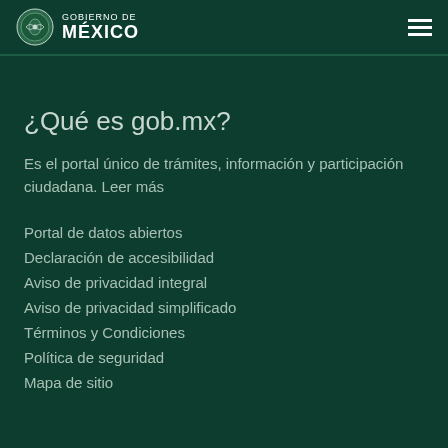GOBIERNO DE MÉXICO
¿Qué es gob.mx?
Es el portal único de trámites, información y participación ciudadana. Leer más
Portal de datos abiertos
Declaración de accesibilidad
Aviso de privacidad integral
Aviso de privacidad simplificado
Términos y Condiciones
Política de seguridad
Mapa de sitio